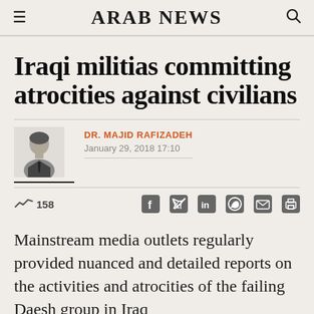ARAB NEWS
Iraqi militias committing atrocities against civilians
DR. MAJID RAFIZADEH
January 29, 2018 17:10
158
Mainstream media outlets regularly provided nuanced and detailed reports on the activities and atrocities of the failing Daesh group in Iraq and